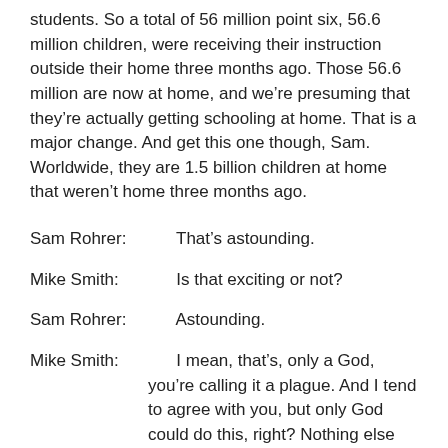students. So a total of 56 million point six, 56.6 million children, were receiving their instruction outside their home three months ago. Those 56.6 million are now at home, and we're presuming that they're actually getting schooling at home. That is a major change. And get this one though, Sam. Worldwide, they are 1.5 billion children at home that weren't home three months ago.
Sam Rohrer:        That's astounding.
Mike Smith:        Is that exciting or not?
Sam Rohrer:        Astounding.
Mike Smith:        I mean, that's, only a God, you're calling it a plague. And I tend to agree with you, but only God could do this, right? Nothing else